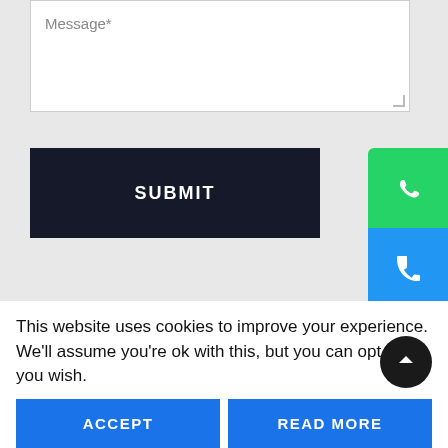[Figure (screenshot): Message textarea input field with placeholder text 'Message*' and resize handle]
[Figure (screenshot): Dark navy SUBMIT button]
[Figure (screenshot): Green WhatsApp icon button on right edge]
[Figure (screenshot): Blue phone icon button on right edge below WhatsApp]
[Figure (screenshot): Dark video embed area showing age-restriction notice: 'This video is age-restricted and only available on YouTube. Learn more']
This website uses cookies to improve your experience. We'll assume you're ok with this, but you can opt-out if you wish.
ACCEPT
READ MORE